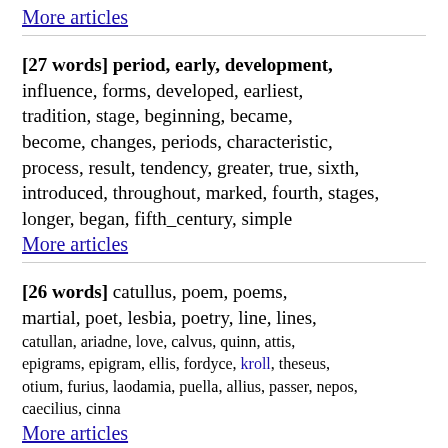More articles
[27 words] period, early, development, influence, forms, developed, earliest, tradition, stage, beginning, became, become, changes, periods, characteristic, process, result, tendency, greater, true, sixth, introduced, throughout, marked, fourth, stages, longer, began, fifth_century, simple
More articles
[26 words] catullus, poem, poems, martial, poet, lesbia, poetry, line, lines, catullan, ariadne, love, calvus, quinn, attis, epigrams, epigram, ellis, fordyce, kroll, theseus, otium, furius, laodamia, puella, allius, passer, nepos, caecilius, cinna
More articles
[25 words] eius, erat, ante, inter, anno, inde, fuit, milia, livy, apud, annos, usque, urbem, deinde, erant, quoque, urbis, atque, dies, etiam, nunc, bellum, quem, autem, loco, romae, diem, castra, quia, quibus
More articles